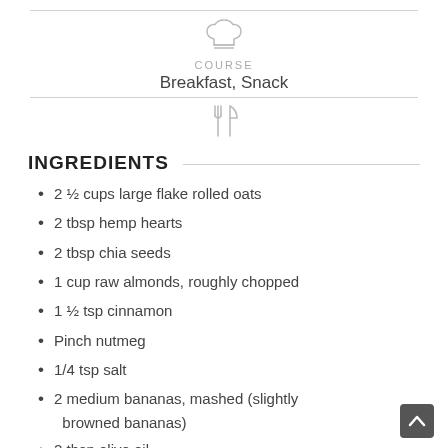[Figure (illustration): Chef hat icon in light gray]
COURSE
Breakfast, Snack
[Figure (illustration): Fork and knife crossed icon in light gray]
INGREDIENTS
2 ½ cups large flake rolled oats
2 tbsp hemp hearts
2 tbsp chia seeds
1 cup raw almonds, roughly chopped
1 ½ tsp cinnamon
Pinch nutmeg
1/4 tsp salt
2 medium bananas, mashed (slightly browned bananas)
2 tbsp olive oil
1 tsp vanilla extract
1/4 cup honey